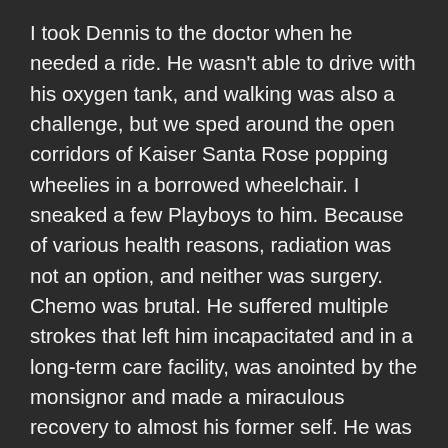I took Dennis to the doctor when he needed a ride. He wasn't able to drive with his oxygen tank, and walking was also a challenge, but we sped around the open corridors of Kaiser Santa Rose popping wheelies in a borrowed wheelchair. I sneaked a few Playboys to him. Because of various health reasons, radiation was not an option, and neither was surgery. Chemo was brutal. He suffered multiple strokes that left him incapacitated and in a long-term care facility, was anointed by the monsignor and made a miraculous recovery to almost his former self. He was able to walk, talk and reason again, and soon was home. But there could be no more chemo. It was a matter of enjoying what time he had left.
I was with Dennis on his last day in early June, a scant six months after diagnosis, taking my turn at companionship, preparing food and tracking medicine. It was a very long day. He wasn't himself, didn't feel well, and the hours